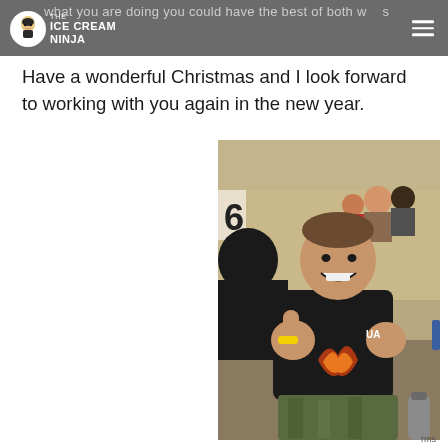what you are doing you could have the best of both worlds | the Ice Cream Ninja
Have a wonderful Christmas and I look forward to working with you again in the new year.
[Figure (photo): A smiling man in a black t-shirt with flame design giving a thumbs up, sitting in bleachers at what appears to be a sporting event. There are other people seated behind him. A number 6 is visible on a sign in the background.]
rms